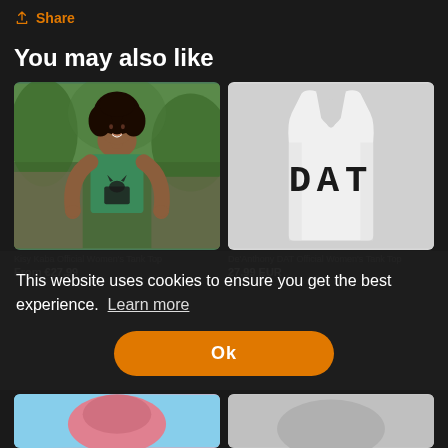Share
You may also like
[Figure (photo): Woman wearing a green tank top with a cat graphic, standing outdoors in a nature setting]
[Figure (photo): White women's racerback tank top with 'DAT' printed in large block letters]
Kisy Kaba Official Women's Tank Top
From €27.99
De'Anthony DAT Official Women's Tank Top
27.99 EUR
This website uses cookies to ensure you get the best experience.  Learn more
Ok
[Figure (photo): Partial view of a product with pink/teal colors at bottom left]
[Figure (photo): Partial view of a gray product at bottom right]